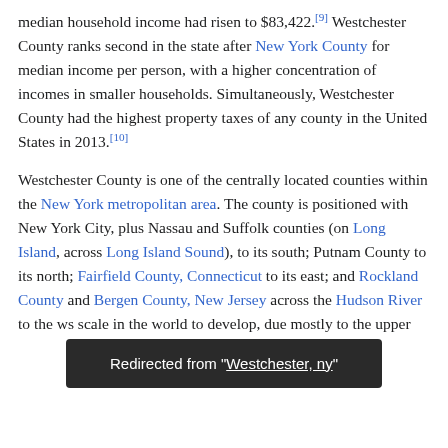median household income had risen to $83,422.[9] Westchester County ranks second in the state after New York County for median income per person, with a higher concentration of incomes in smaller households. Simultaneously, Westchester County had the highest property taxes of any county in the United States in 2013.[10]

Westchester County is one of the centrally located counties within the New York metropolitan area. The county is positioned with New York City, plus Nassau and Suffolk counties (on Long Island, across Long Island Sound), to its south; Putnam County to its north; Fairfield County, Connecticut to its east; and Rockland County and Bergen County, New Jersey across the Hudson River to the w[estchester...] scale in the world to develop, due mostly to the upper [...]
Redirected from "Westchester, ny"